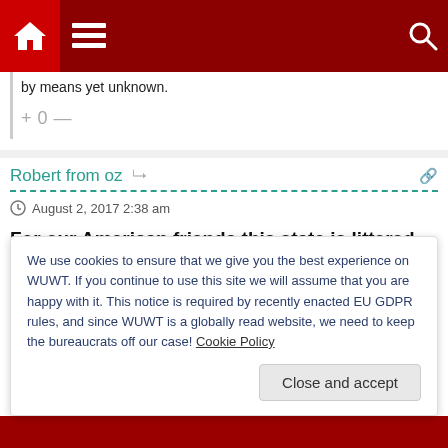Navigation bar with home icon, menu icon, and search icon
by means yet unknown.
+ 0 —
Robert from oz
August 2, 2017 2:38 am
For our American friends this state is littered with the ruins and abandoned buildings mainly from Government decisions.
We use cookies to ensure that we give you the best experience on WUWT. If you continue to use this site we will assume that you are happy with it. This notice is required by recently enacted EU GDPR rules, and since WUWT is a globally read website, we need to keep the bureaucrats off our case! Cookie Policy
Close and accept